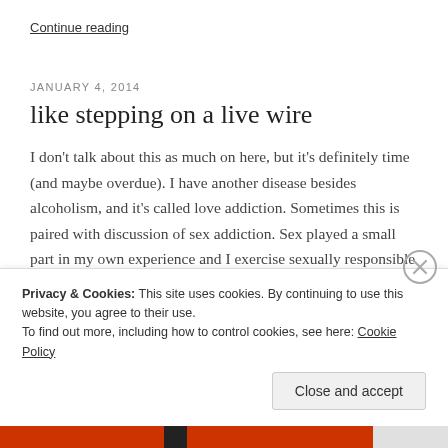Continue reading
JANUARY 4, 2014
like stepping on a live wire
I don't talk about this as much on here, but it's definitely time (and maybe overdue). I have another disease besides alcoholism, and it's called love addiction. Sometimes this is paired with discussion of sex addiction. Sex played a small part in my own experience and I exercise sexually responsible behaviors now. But love addiction ...
Privacy & Cookies: This site uses cookies. By continuing to use this website, you agree to their use.
To find out more, including how to control cookies, see here: Cookie Policy
Close and accept